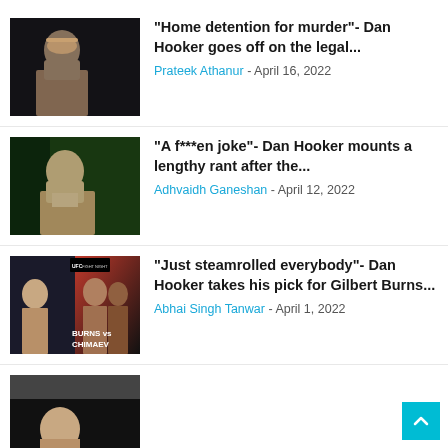[Figure (photo): Dan Hooker portrait photo - shirtless fighter with short hair against dark background]
“Home detention for murder”- Dan Hooker goes off on the legal...
Prateek Athanur - April 16, 2022
[Figure (photo): Dan Hooker shouting/yelling photo - fighter with mouth open, against green/dark background]
“A f***en joke”- Dan Hooker mounts a lengthy rant after the...
Adhvaidh Ganeshan - April 12, 2022
[Figure (photo): UFC Fight Night event graphic - Burns vs Chimaev promotional image with Dan Hooker on left]
“Just steamrolled everybody”- Dan Hooker takes his pick for Gilbert Burns...
Abhai Singh Tanwar - April 1, 2022
[Figure (photo): Partial photo of fighter, partially visible at bottom of page]